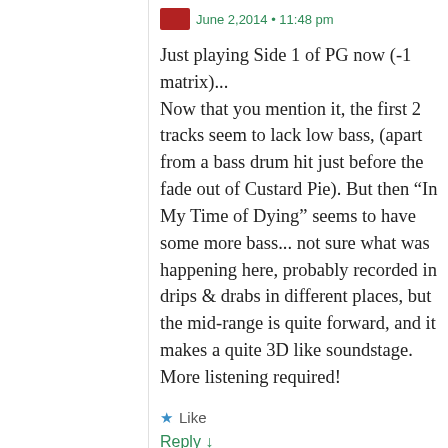June 2,2014 • 11:48 pm
Just playing Side 1 of PG now (-1 matrix)...
Now that you mention it, the first 2 tracks seem to lack low bass, (apart from a bass drum hit just before the fade out of Custard Pie). But then “In My Time of Dying” seems to have some more bass... not sure what was happening here, probably recorded in drips & drabs in different places, but the mid-range is quite forward, and it makes a quite 3D like soundstage. More listening required!
★ Like
Reply ↓